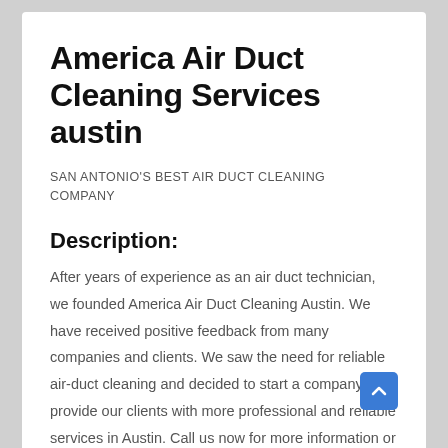America Air Duct Cleaning Services austin
SAN ANTONIO'S BEST AIR DUCT CLEANING COMPANY
Description:
After years of experience as an air duct technician, we founded America Air Duct Cleaning Austin. We have received positive feedback from many companies and clients. We saw the need for reliable air-duct cleaning and decided to start a company to provide our clients with more professional and reliable services in Austin. Call us now for more information or visit our website.